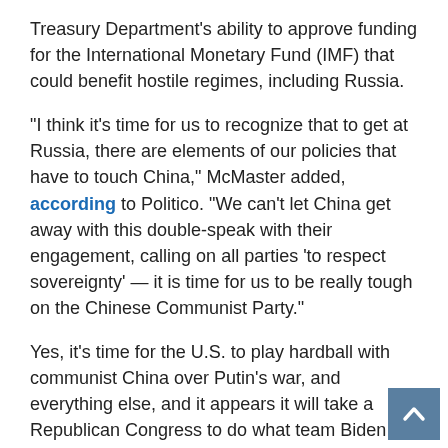Treasury Department's ability to approve funding for the International Monetary Fund (IMF) that could benefit hostile regimes, including Russia.
“I think it’s time for us to recognize that to get at Russia, there are elements of our policies that have to touch China,” McMaster added, according to Politico. “We can’t let China get away with this double-speak with their engagement, calling on all parties ‘to respect sovereignty’ — it is time for us to be really tough on the Chinese Communist Party.”
Yes, it’s time for the U.S. to play hardball with communist China over Putin’s war, and everything else, and it appears it will take a Republican Congress to do what team Biden can’t seem to accomplish. (RELATED: China’s Ukraine Reaction Putting Its Citizens at Risk)